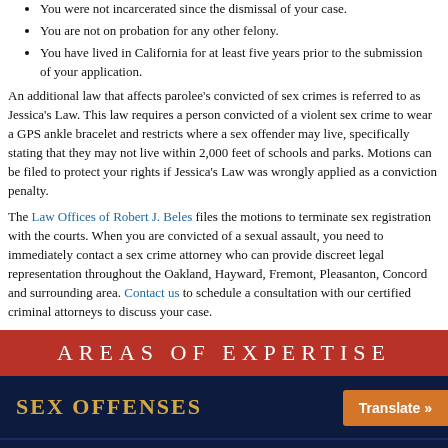You were not incarcerated since the dismissal of your case.
You are not on probation for any other felony.
You have lived in California for at least five years prior to the submission of your application.
An additional law that affects parolee's convicted of sex crimes is referred to as Jessica's Law. This law requires a person convicted of a violent sex crime to wear a GPS ankle bracelet and restricts where a sex offender may live, specifically stating that they may not live within 2,000 feet of schools and parks. Motions can be filed to protect your rights if Jessica's Law was wrongly applied as a conviction penalty.
The Law Offices of Robert J. Beles files the motions to terminate sex registration with the courts. When you are convicted of a sexual assault, you need to immediately contact a sex crime attorney who can provide discreet legal representation throughout the Oakland, Hayward, Fremont, Pleasanton, Concord and surrounding area. Contact us to schedule a consultation with our certified criminal attorneys to discuss your case.
AREAS OF EXPERTISE
SEX OFFENSES
DOMESTIC VIOLENCE
MURDER / MANSLAUGHTER